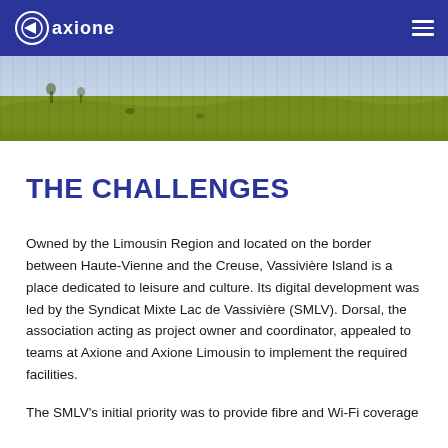Axione logo and navigation header
[Figure (photo): Green pastoral landscape photo showing fields]
THE CHALLENGES
Owned by the Limousin Region and located on the border between Haute-Vienne and the Creuse, Vassivière Island is a place dedicated to leisure and culture. Its digital development was led by the Syndicat Mixte Lac de Vassivière (SMLV). Dorsal, the association acting as project owner and coordinator, appealed to teams at Axione and Axione Limousin to implement the required facilities.
The SMLV's initial priority was to provide fibre and Wi-Fi coverage